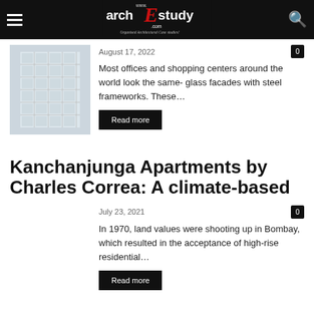www.archEstudy.com — Organised Architectural Case studies!
August 17, 2022
[Figure (photo): Exterior photo of a multi-storey building with grid-like window facade, faded/light toned]
Most offices and shopping centers around the world look the same- glass facades with steel frameworks. These…
Read more
Kanchanjunga Apartments by Charles Correa: A climate-based
July 23, 2021
In 1970, land values were shooting up in Bombay, which resulted in the acceptance of high-rise residential…
Read more